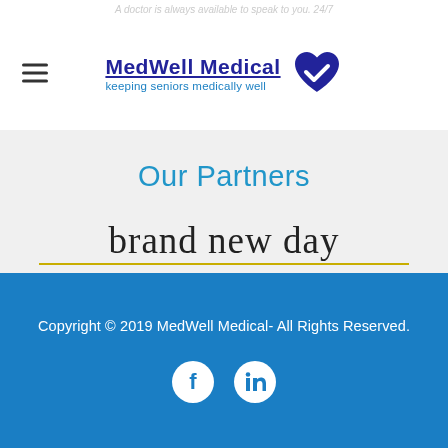A doctor is always available to speak to you. 24/7
[Figure (logo): MedWell Medical logo with heart-checkmark icon and tagline 'keeping seniors medically well']
Our Partners
[Figure (logo): brand new day logo with tagline 'HEALTHCARE YOU CAN FEEL GOOD ABOUT']
Copyright © 2019 MedWell Medical- All Rights Reserved.